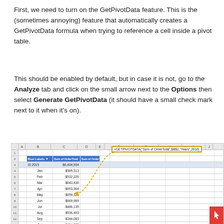First, we need to turn on the GetPivotData feature. This is the (sometimes annoying) feature that automatically creates a GetPivotData formula when trying to reference a cell inside a pivot table.
This should be enabled by default, but in case it is not, go to the Analyze tab and click on the small arrow next to the Options then select Generate GetPivotData (it should have a small check mark next to it when it's on).
[Figure (screenshot): Excel spreadsheet screenshot showing a pivot table with Sum of OrderTotal data for 2015 and 2016 by month, with a GetPivotData formula displayed in a formula bar box connected by a dashed arrow to the 2016 total cell ($9,187,824). A second pivot table on the right shows columns for 2015, 2016, and Grand Total by month.]